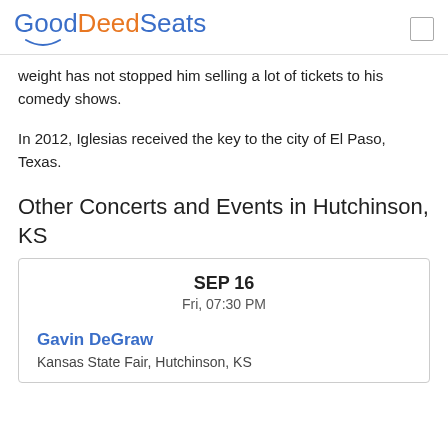GoodDeedSeats
weight has not stopped him selling a lot of tickets to his comedy shows.
In 2012, Iglesias received the key to the city of El Paso, Texas.
Other Concerts and Events in Hutchinson, KS
SEP 16
Fri, 07:30 PM
Gavin DeGraw
Kansas State Fair, Hutchinson, KS